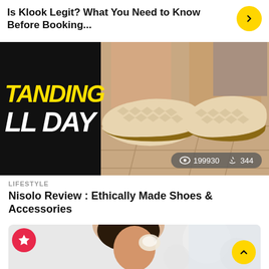Is Klook Legit? What You Need to Know Before Booking...
[Figure (photo): Article thumbnail image showing woven beige loafer shoes on a tile floor, with a black panel on the left showing yellow text 'TANDING' and white text 'LL DAY'. Stats overlay shows eye icon 199930 and share icon 344.]
LIFESTYLE
Nisolo Review : Ethically Made Shoes & Accessories
[Figure (photo): Article thumbnail showing a woman applying skincare/makeup product to her face in front of a mirror with bokeh light background. A red star badge is in the top-left corner.]